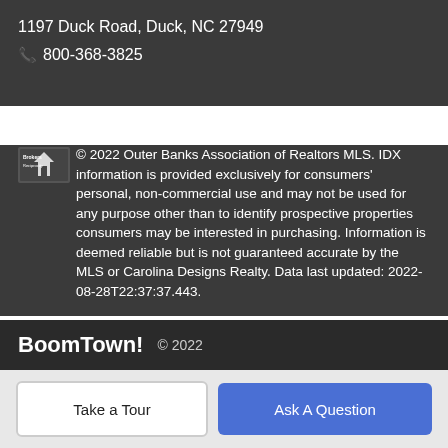1197 Duck Road, Duck, NC 27949
📞 800-368-3825
© 2022 Outer Banks Association of Realtors MLS. IDX information is provided exclusively for consumers' personal, non-commercial use and may not be used for any purpose other than to identify prospective properties consumers may be interested in purchasing. Information is deemed reliable but is not guaranteed accurate by the MLS or Carolina Designs Realty. Data last updated: 2022-08-28T22:37:37.443.
BoomTown! © 2022 | Terms of Use | Privacy Policy | Accessibility | DMCA | Listings Sitemap
Take a Tour
Ask A Question